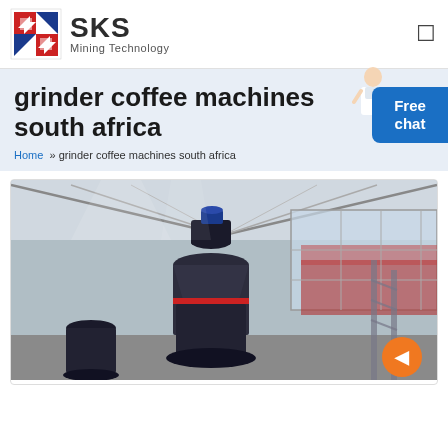[Figure (logo): SKS Mining Technology logo with red/blue geometric icon and company name]
grinder coffee machines south africa
Home » grinder coffee machines south africa
[Figure (photo): Industrial grinding/milling machine inside a large factory/warehouse building with metal roof structure and red exterior visible through windows]